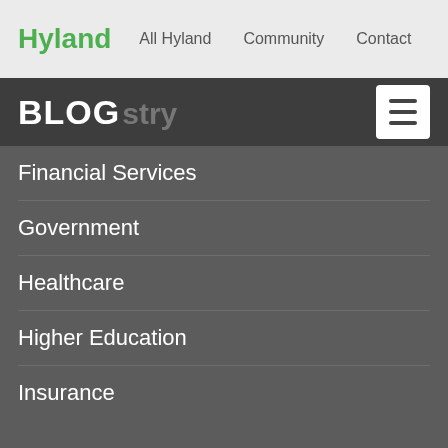Hyland  All Hyland  Community  Contact
BLOG
Financial Services
Government
Healthcare
Higher Education
Insurance
Learn
Complete View: Lead in the Digital Age
Content Services in the Cloud
Grow into the Future
Innovation in Content Services